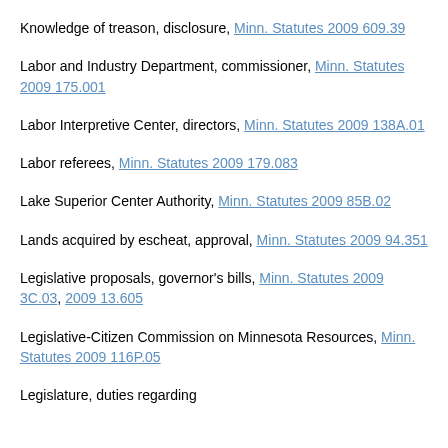Knowledge of treason, disclosure, Minn. Statutes 2009 609.39
Labor and Industry Department, commissioner, Minn. Statutes 2009 175.001
Labor Interpretive Center, directors, Minn. Statutes 2009 138A.01
Labor referees, Minn. Statutes 2009 179.083
Lake Superior Center Authority, Minn. Statutes 2009 85B.02
Lands acquired by escheat, approval, Minn. Statutes 2009 94.351
Legislative proposals, governor's bills, Minn. Statutes 2009 3C.03, 2009 13.605
Legislative-Citizen Commission on Minnesota Resources, Minn. Statutes 2009 116P.05
Legislature, duties regarding